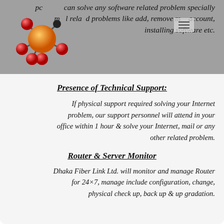pc can solve any software related problem specially mail related problems like add, remove mail account, installing software etc.
[Figure (illustration): 3D molecular structure illustration with orange, red, and black spheres connected by sticks, on a grey background]
Presence of Technical Support:
If physical support required solving your Internet problem, our support personnel will attend in your office within 1 hour & solve your Internet, mail or any other related problem.
Router & Server Monitor
Dhaka Fiber Link Ltd. will monitor and manage Router for 24×7, manage include configuration, change, physical check up, back up & up gradation.